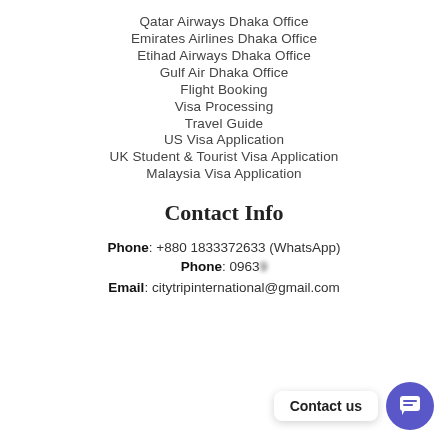Qatar Airways Dhaka Office
Emirates Airlines Dhaka Office
Etihad Airways Dhaka Office
Gulf Air Dhaka Office
Flight Booking
Visa Processing
Travel Guide
US Visa Application
UK Student & Tourist Visa Application
Malaysia Visa Application
Contact Info
Phone: +880 1833372633 (WhatsApp)
Phone: 09639...
Email: citytripinternational@gmail.com